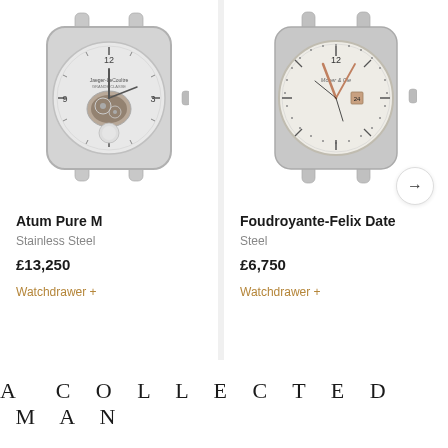[Figure (photo): Jaeger-LeCoultre skeleton watch face, stainless steel, with open heart dial showing movement]
Atum Pure M
Stainless Steel
£13,250
Watchdrawer +
[Figure (photo): Moser & Cie minimalist white dial watch with rose gold hands and date complication, steel case]
Foudroyante-Felix Date
Steel
£6,750
Watchdrawer +
A COLLECTED MAN